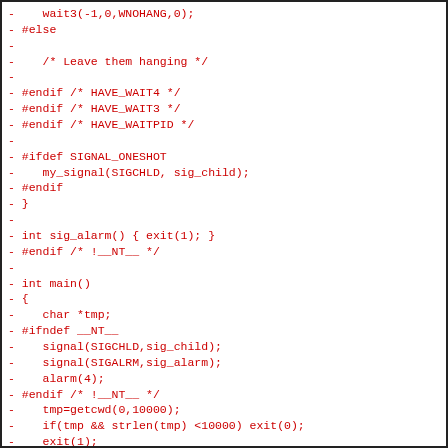- wait3(-1,0,WNOHANG,0);
- #else
-
-    /* Leave them hanging */
-
- #endif /* HAVE_WAIT4 */
- #endif /* HAVE_WAIT3 */
- #endif /* HAVE_WAITPID */
-
- #ifdef SIGNAL_ONESHOT
-    my_signal(SIGCHLD, sig_child);
- #endif
- }
-
- int sig_alarm() { exit(1); }
- #endif /* !__NT__ */
-
- int main()
- {
-    char *tmp;
- #ifndef __NT__
-    signal(SIGCHLD,sig_child);
-    signal(SIGALRM,sig_alarm);
-    alarm(4);
- #endif /* !__NT__ */
-    tmp=getcwd(0,10000);
-    if(tmp && strlen(tmp) <10000) exit(0);
-    exit(1);
- }
- ],pike_cv_func_working_getcwd=yes,pike_cv_func_wo